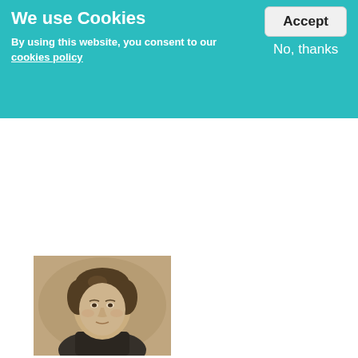We use Cookies
By using this website, you consent to our cookies policy
Accept
No, thanks
[Figure (photo): Sepia-toned portrait photograph of an elderly woman with curly hair, wearing a dark high-collared outfit, looking slightly to the side with a slight smile.]